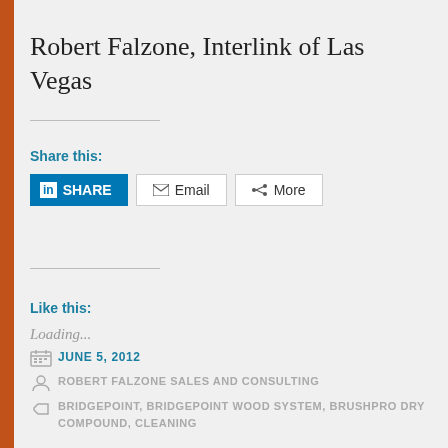Robert Falzone, Interlink of Las Vegas
Share this:
[Figure (screenshot): Social share buttons: LinkedIn Share, Email, More]
Like this:
Loading...
JUNE 5, 2012
ROBERT FALZONE SALES AND CONSULTING
BRIDGEPOINT, BRIDGEPOINT WOOD SYSTEM, BRUSHPRO DRY COMPOUND, CLEANING